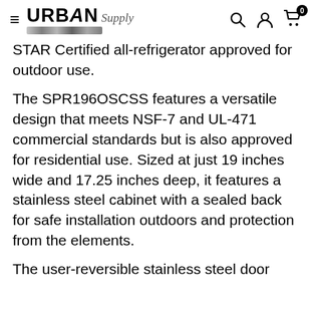URBAN Supply [logo] — navigation header with search, account, and cart icons
STAR Certified all-refrigerator approved for outdoor use.
The SPR196OSCSS features a versatile design that meets NSF-7 and UL-471 commercial standards but is also approved for residential use. Sized at just 19 inches wide and 17.25 inches deep, it features a stainless steel cabinet with a sealed back for safe installation outdoors and protection from the elements.
The user-reversible stainless steel door